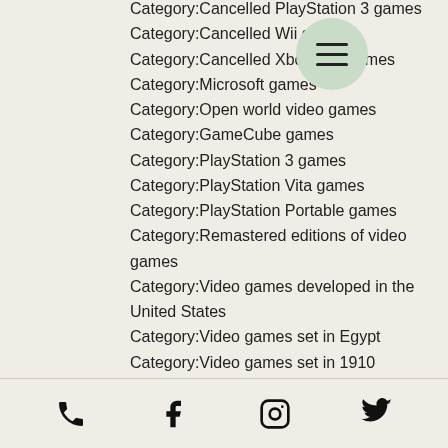Category:Cancelled PlayStation 3 games
Category:Cancelled Wii games
Category:Cancelled Xbox 360 games
Category:Microsoft games
Category:Open world video games
Category:GameCube games
Category:PlayStation 3 games
Category:PlayStation Vita games
Category:PlayStation Portable games
Category:Remastered editions of video games
Category:Video games developed in the United States
Category:Video games set in Egypt
Category:Video games set in 1910
Category:Video games set in 1912
Category:Video games set in 1912
Category:Video games set in 1912
Category:Video games set in 1913
Category:Video games set in Italy
Phone | Facebook | Instagram | Twitter